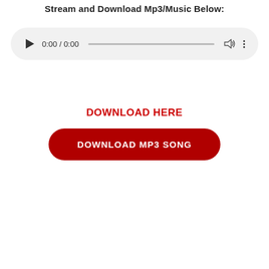Stream and Download Mp3/Music Below:
[Figure (screenshot): Audio player UI with play button, time display 0:00 / 0:00, progress bar, volume icon, and more options icon on a light gray rounded rectangle background.]
DOWNLOAD HERE
DOWNLOAD MP3 SONG